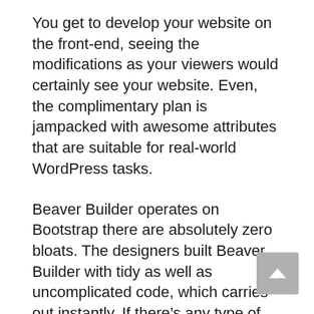You get to develop your website on the front-end, seeing the modifications as your viewers would certainly see your website. Even, the complimentary plan is jampacked with awesome attributes that are suitable for real-world WordPress tasks.
Beaver Builder operates on Bootstrap there are absolutely zero bloats. The designers built Beaver Builder with tidy as well as uncomplicated code, which carries out instantly. If there’s any type of delayed problem, then it has whatever to do with your computer, or perhaps the web connection.
Adding rows, columns, videos, reviews, and also all various other sorts of functions with...